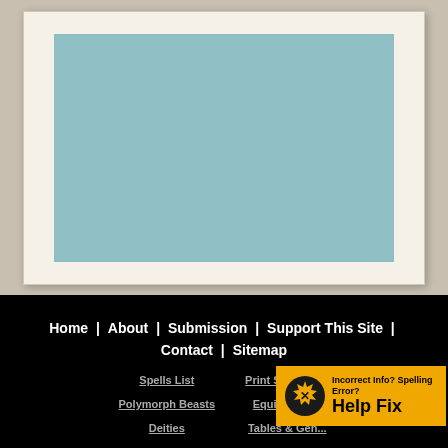[Figure (illustration): A framed artwork or placeholder image with a teal/muted blue-green colored rectangle centered on a cream/off-white frame background, displayed against a tan/beige page background.]
Home | About | Submission | Support This Site | Contact | Sitemap
Spells List
Print Spell Car...
Polymorph Beasts
Equipment ...
Deities
Feats
Tables & Gen...
[Figure (logo): Help Fix badge: orange/yellow background with a gear/wrench icon and text 'Incorrect Info? Spelling Error? Help Fix']